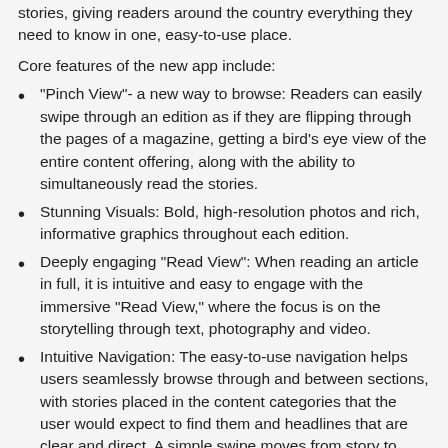stories, giving readers around the country everything they need to know in one, easy-to-use place.
Core features of the new app include:
“Pinch View”- a new way to browse: Readers can easily swipe through an edition as if they are flipping through the pages of a magazine, getting a bird’s eye view of the entire content offering, along with the ability to simultaneously read the stories.
Stunning Visuals: Bold, high-resolution photos and rich, informative graphics throughout each edition.
Deeply engaging “Read View”: When reading an article in full, it is intuitive and easy to engage with the immersive “Read View,” where the focus is on the storytelling through text, photography and video.
Intuitive Navigation: The easy-to-use navigation helps users seamlessly browse through and between sections, with stories placed in the content categories that the user would expect to find them and headlines that are clear and direct. A simple swipe moves from story to story.
Packaged for the Tablet Reader: Created specifically for tablet readers’ sensibility, the app has two distinct editions released at 5:00am and 5:00pm ET, with breaking news and other updates added in between.